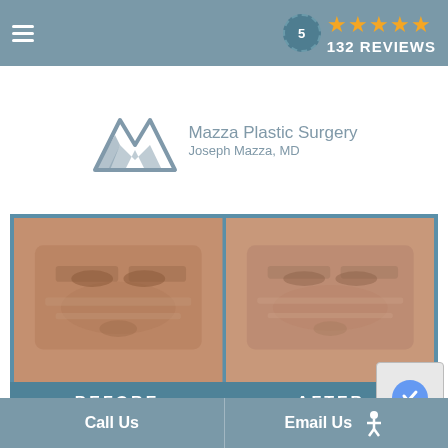≡  5  ★★★★★  132 REVIEWS
[Figure (logo): Mazza Plastic Surgery logo with mountain/M icon, text: Mazza Plastic Surgery, Joseph Mazza, MD]
[Figure (photo): Before and after photos side by side showing eyelid surgery results, with BEFORE and AFTER labels on teal/blue background]
Click the images to view Before and After Photos of some of our satisfied patients.
Your eyes are one of the most important features of your face. It is said that your eyes help to define who you are, and they express a variety of emotions. But, unfortunately as we age, the skin around the eyelids begins to thin, stretches and the muscles weaken. Also, fat pads, a…pear under the eyes. Droo…
Call Us   Email Us